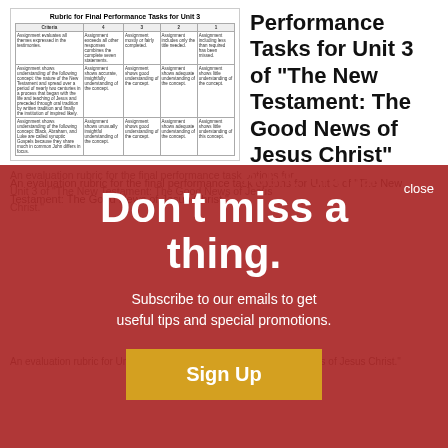[Figure (screenshot): Thumbnail image of a rubric table for Final Performance Tasks for Unit 3]
Performance Tasks for Unit 3 of “The New Testament: The Good News of Jesus Christ”
An evaluation rubric for the final performance task options for Unit 3 of “The New Testament: The Good News of Jesus Christ.”
close
Don't miss a thing.
Subscribe to our emails to get useful tips and special promotions.
Sign Up
Rubric for Final Performance Tasks for Unit 2 of “The New Testament: The Good News of Jesus Christ”
An evaluation rubric for Unit 2 of “The New Testament: The Good News of Jesus Christ.”